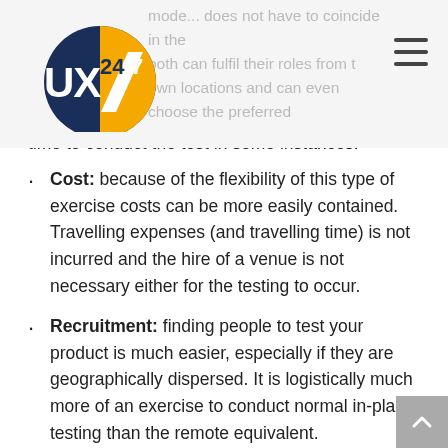UX247 logo and navigation
mode... does not have to coincide in the both can fulfil their roles from their own locations and can even choose the preferred time to conduct the test in some instances.
Cost: because of the flexibility of this type of exercise costs can be more easily contained. Travelling expenses (and travelling time) is not incurred and the hire of a venue is not necessary either for the testing to occur.
Recruitment: finding people to test your product is much easier, especially if they are geographically dispersed. It is logistically much more of an exercise to conduct normal in-place testing than the remote equivalent.
Equipment: you don't need to find and provide equipment for the testers to use as they will be participating on their own machines. This might